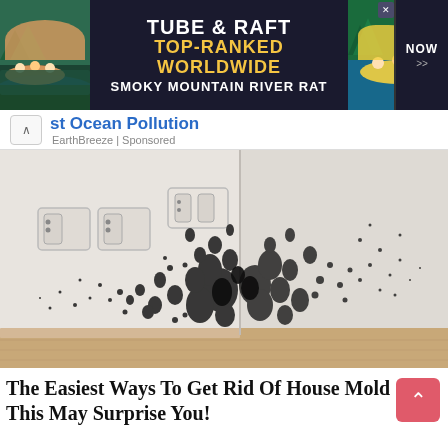[Figure (screenshot): Advertisement banner for Tube & Raft / Smoky Mountain River Rat, top-ranked worldwide, with rafting images on left and right sides and a NOW button]
[Figure (screenshot): Collapsed advertisement bar showing 'st Ocean Pollution' text in blue with EarthBreeze Sponsored label and a collapse/chevron button]
[Figure (photo): Photograph of a room corner showing severe black mold growth covering white walls above wooden baseboard, with electrical outlets visible on the left wall]
The Easiest Ways To Get Rid Of House Mold - This May Surprise You!